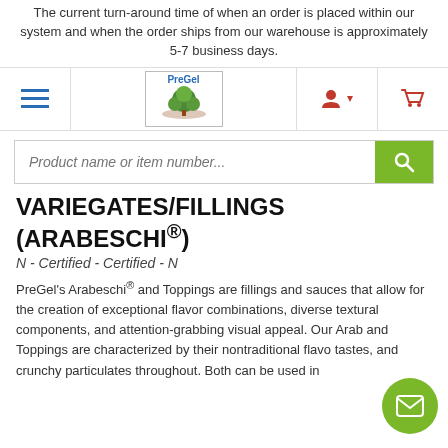The current turn-around time of when an order is placed within our system and when the order ships from our warehouse is approximately 5-7 business days.
[Figure (screenshot): Website navigation bar with hamburger menu on left, PreGel logo in center, user account icon and shopping cart icon on right]
[Figure (screenshot): Search bar with placeholder text 'Product name or item number...' and green search button with magnifying glass icon]
VARIEGATES/FILLINGS (ARABESCHI®)
N - Certified - Certified - N
PreGel's Arabeschi® and Toppings are fillings and sauces that allow for the creation of exceptional flavor combinations, diverse textural components, and attention-grabbing visual appeal. Our Arabeschi® and Toppings are characterized by their nontraditional flavors, tastes, and crunchy particulates throughout. Both can be used in